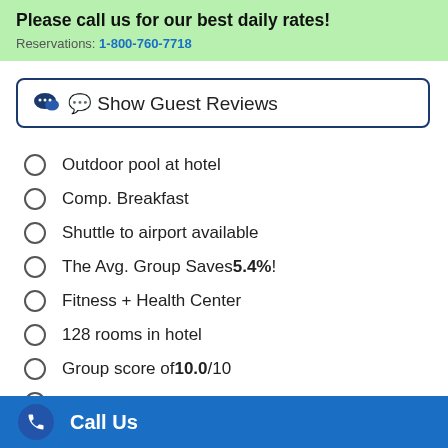Please call us for our best daily rates! Reservations: 1-800-760-7718
Show Guest Reviews
Outdoor pool at hotel
Comp. Breakfast
Shuttle to airport available
The Avg. Group Saves 5.4%!
Fitness + Health Center
128 rooms in hotel
Group score of 10.0/10
4 meeting rooms in hotel
Call Us